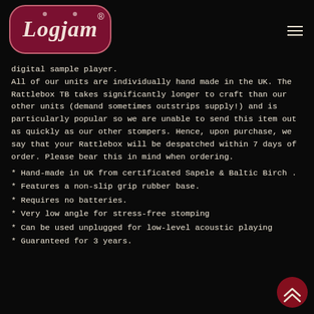[Figure (logo): Logjam logo: dark crimson/maroon rounded rectangle with cursive white 'Logjam' text and registered trademark symbol]
digital sample player.
All of our units are individually hand made in the UK. The Rattlebox TB takes significantly longer to craft than our other units (demand sometimes outstrips supply!) and is particularly popular so we are unable to send this item out as quickly as our other stompers. Hence, upon purchase, we say that your Rattlebox will be despatched within 7 days of order. Please bear this in mind when ordering.
* Hand-made in UK from certificated Sapele & Baltic Birch .
* Features a non-slip grip rubber base.
* Requires no batteries.
* Very low angle for stress-free stomping
* Can be used unplugged for low-level acoustic playing
* Guaranteed for 3 years.